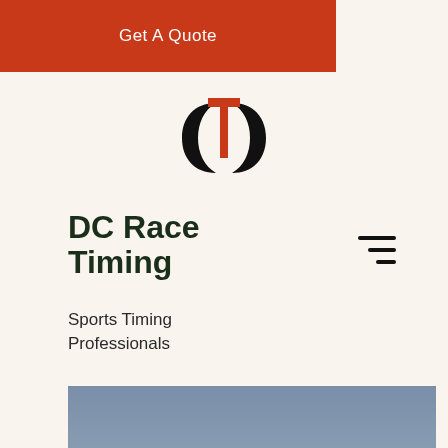Get A Quote
[Figure (logo): DC Race Timing logo — two crescent shapes mirrored horizontally with a red T-shape in the center]
DC Race Timing
Sports Timing Professionals
[Figure (photo): Outdoor landscape photo with a blue-gray sky and distant tree line; two hot air balloons visible — one pink/red in the lower left, one smaller in the lower right area]